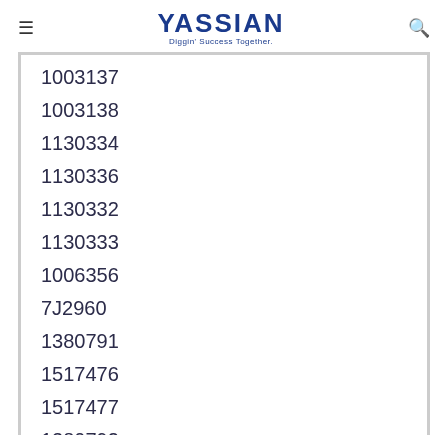YASSIAN Diggin' Success Together.
1003137
1003138
1130334
1130336
1130332
1130333
1006356
7J2960
1380791
1517476
1517477
1380792
1380793
1856509